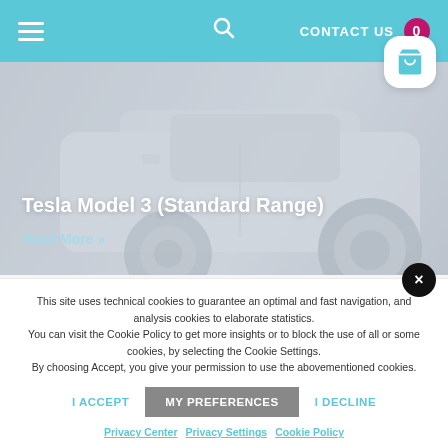CONTACT US 0
[Figure (photo): Tesla Model 3 Standard Range white car side view hero image with light grey overlay]
Tesla Model 3 (Standard Range)
Read More »
This site uses technical cookies to guarantee an optimal and fast navigation, and analysis cookies to elaborate statistics. You can visit the Cookie Policy to get more insights or to block the use of all or some cookies, by selecting the Cookie Settings. By choosing Accept, you give your permission to use the abovementioned cookies.
I ACCEPT   MY PREFERENCES   I DECLINE
Privacy Center   Privacy Settings   Cookie Policy